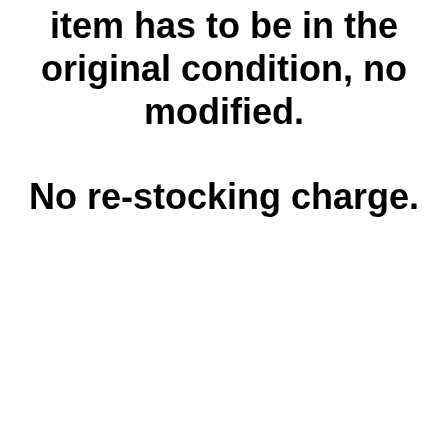item has to be in the original condition, no modified.
No re-stocking charge.